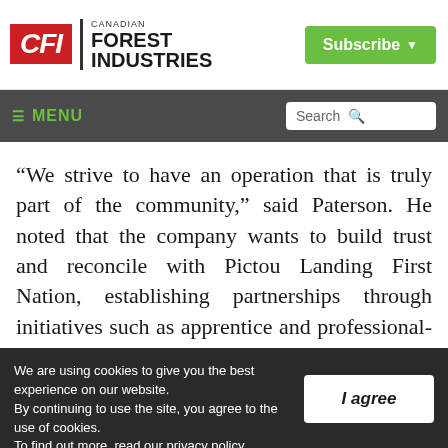[Figure (logo): Canadian Forest Industries logo with red CFI letters and green Subscribe button]
≡ MENU  Search
“We strive to have an operation that is truly part of the community,” said Paterson. He noted that the company wants to build trust and reconcile with Pictou Landing First Nation, establishing partnerships through initiatives such as apprentice and professional-in-
We are using cookies to give you the best experience on our website. By continuing to use the site, you agree to the use of cookies. To find out more, read our privacy policy.  I agree